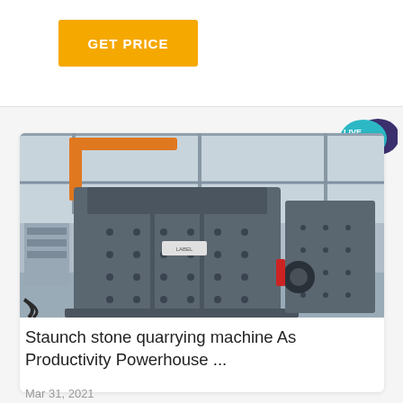GET PRICE
[Figure (photo): Industrial stone crushing/quarrying machine (impact crusher) in a factory warehouse setting, painted grey, with conveyor belt machinery visible to the right and overhead crane in the background.]
Staunch stone quarrying machine As Productivity Powerhouse ...
Mar 31, 2021